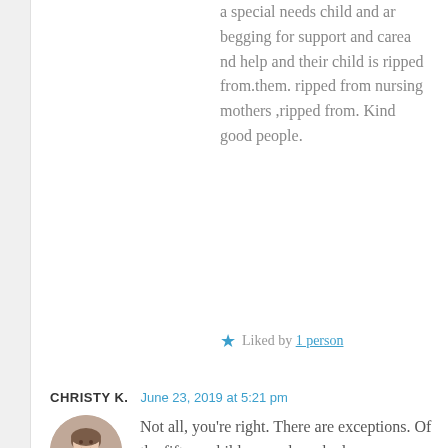a special needs child and ar begging for support and carea nd help and their child is ripped from.them. ripped from nursing mothers ,ripped from. Kind good people.
★ Liked by 1 person
CHRISTY K.   June 23, 2019 at 5:21 pm
[Figure (photo): Circular avatar photo of a smiling person with short hair]
Not all, you're right. There are exceptions. Of the fifteen children we have had, one probably should not have been removed. But the rest were very clearly victims of neglect and abuse. It's always tragic, either way. Always.